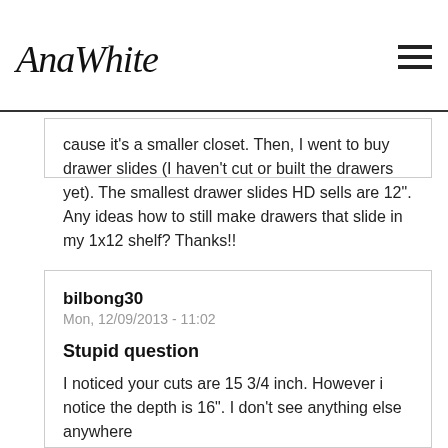AnaWhite
cause it's a smaller closet. Then, I went to buy drawer slides (I haven't cut or built the drawers yet). The smallest drawer slides HD sells are 12". Any ideas how to still make drawers that slide in my 1x12 shelf? Thanks!!
Log in or register to post comments
bilbong30
Mon, 12/09/2013 - 11:02
Stupid question
I noticed your cuts are 15 3/4 inch. However i notice the depth is 16". I don't see anything else anywhere on that other 1/4". Can you help me? I am looking at doing this with a 24" inch depth. Assuming I need to